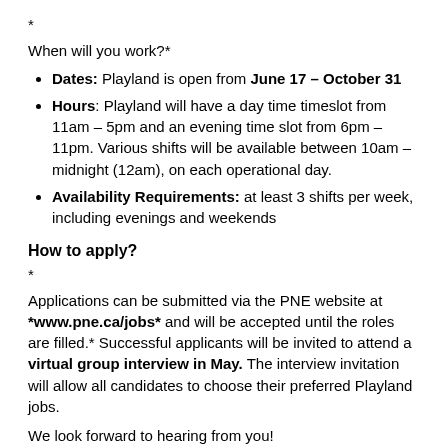*
When will you work?*
Dates: Playland is open from June 17 – October 31
Hours: Playland will have a day time timeslot from 11am – 5pm and an evening time slot from 6pm – 11pm. Various shifts will be available between 10am – midnight (12am), on each operational day.
Availability Requirements: at least 3 shifts per week, including evenings and weekends
How to apply?
*
Applications can be submitted via the PNE website at *www.pne.ca/jobs* and will be accepted until the roles are filled.* Successful applicants will be invited to attend a virtual group interview in May. The interview invitation will allow all candidates to choose their preferred Playland jobs.
We look forward to hearing from you!
–
The PNE is proud to be an equal opportunity employer